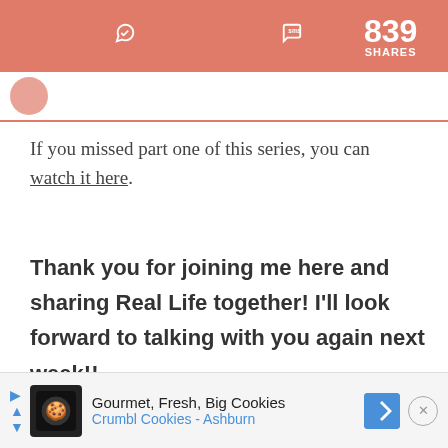839 SHARES — social sharing bar with Facebook, Messenger, Pinterest, SMS icons
[Figure (screenshot): Partial avatar/profile image cropped at top]
If you missed part one of this series, you can watch it here.
Thank you for joining me here and sharing Real Life together! I'll look forward to talking with you again next week!!
[Figure (other): Advertisement: Gourmet, Fresh, Big Cookies — Crumbl Cookies - Ashburn]